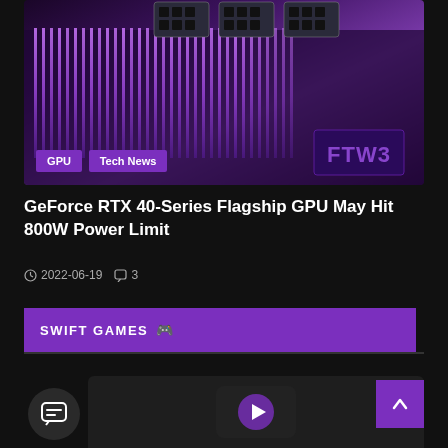[Figure (photo): Close-up photo of a GPU (EVGA FTW3) showing heat sink fins in purple/pink lighting with power connectors visible at top]
GeForce RTX 40-Series Flagship GPU May Hit 800W Power Limit
2022-06-19   3
SWIFT GAMES
[Figure (screenshot): Partial bottom section showing chat button and a card/thumbnail with purple icon]